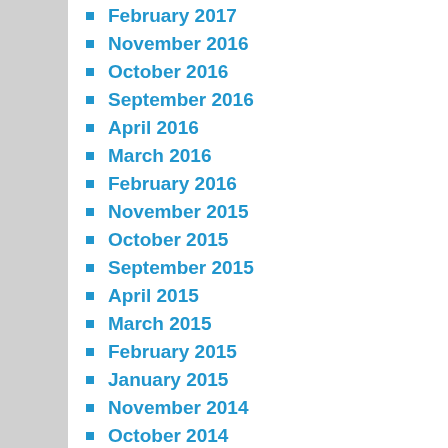February 2017
November 2016
October 2016
September 2016
April 2016
March 2016
February 2016
November 2015
October 2015
September 2015
April 2015
March 2015
February 2015
January 2015
November 2014
October 2014
September 2014
April 2014
March 2014
February 2014
December 2013
November 2013